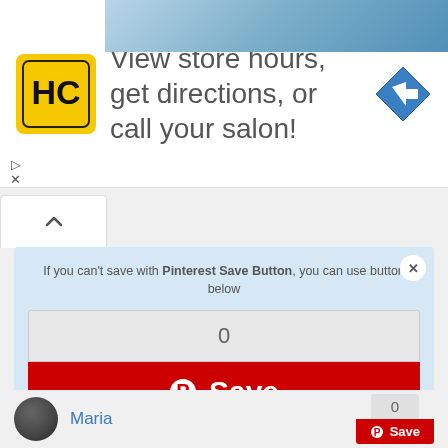[Figure (screenshot): Advertisement banner: HC logo (yellow/black), text 'View store hours, get directions, or call your salon!', blue diamond navigation arrow icon]
If you can't save with Pinterest Save Button, you can use button below
0
[Figure (screenshot): Pinterest Save button (red, large) with Pinterest circular logo icon and 'Save' text in white]
Knitted blouse light blue free pattern
0
[Figure (screenshot): Small Pinterest Save button (red, pill-shaped) with Pinterest P icon]
0
Maria
0
[Figure (screenshot): Small Pinterest Save button at bottom right]